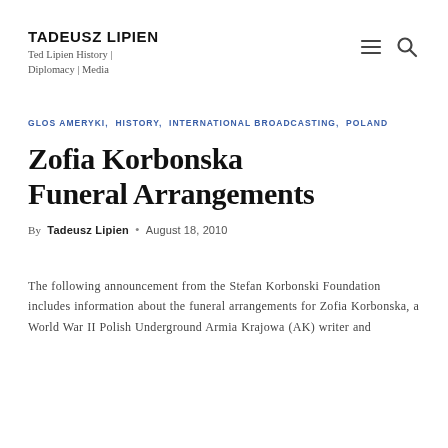TADEUSZ LIPIEN
Ted Lipien History | Diplomacy | Media
GLOS AMERYKI, HISTORY, INTERNATIONAL BROADCASTING, POLAND
Zofia Korbonska Funeral Arrangements
By Tadeusz Lipien • August 18, 2010
The following announcement from the Stefan Korbonski Foundation includes information about the funeral arrangements for Zofia Korbonska, a World War II Polish Underground Armia Krajowa (AK) writer and